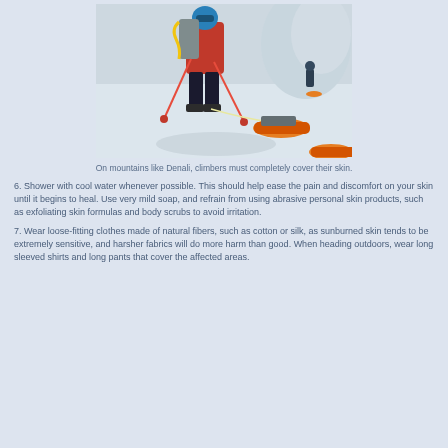[Figure (photo): A mountain climber in red jacket and black pants with heavy backpack and trekking poles, dragging an orange sled on a snowy glacier. Another climber visible in the background. Snow and ice formations visible.]
On mountains like Denali, climbers must completely cover their skin.
6. Shower with cool water whenever possible. This should help ease the pain and discomfort on your skin until it begins to heal. Use very mild soap, and refrain from using abrasive personal skin products, such as exfoliating skin formulas and body scrubs to avoid irritation.
7. Wear loose-fitting clothes made of natural fibers, such as cotton or silk, as sunburned skin tends to be extremely sensitive, and harsher fabrics will do more harm than good. When heading outdoors, wear long sleeved shirts and long pants that cover the affected areas.